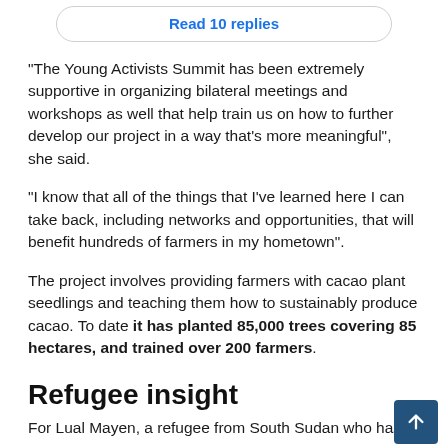Read 10 replies
"The Young Activists Summit has been extremely supportive in organizing bilateral meetings and workshops as well that help train us on how to further develop our project in a way that's more meaningful", she said.
"I know that all of the things that I've learned here I can take back, including networks and opportunities, that will benefit hundreds of farmers in my hometown".
The project involves providing farmers with cacao plant seedlings and teaching them how to sustainably produce cacao. To date it has planted 85,000 trees covering 85 hectares, and trained over 200 farmers.
Refugee insight
For Lual Mayen, a refugee from South Sudan who has crea…